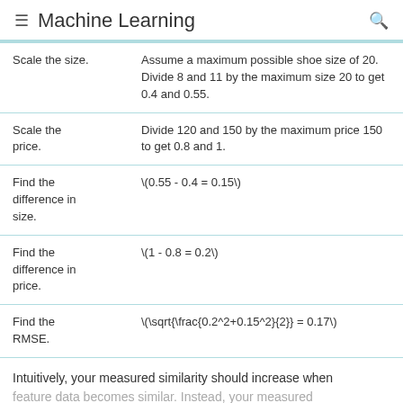Machine Learning
| Scale the size. | Assume a maximum possible shoe size of 20. Divide 8 and 11 by the maximum size 20 to get 0.4 and 0.55. |
| Scale the price. | Divide 120 and 150 by the maximum price 150 to get 0.8 and 1. |
| Find the difference in size. | \(0.55 - 0.4 = 0.15\) |
| Find the difference in price. | \(1 - 0.8 = 0.2\) |
| Find the RMSE. | \(\sqrt{\frac{0.2^2+0.15^2}{2}} = 0.17\) |
Intuitively, your measured similarity should increase when feature data becomes similar. Instead, your measured